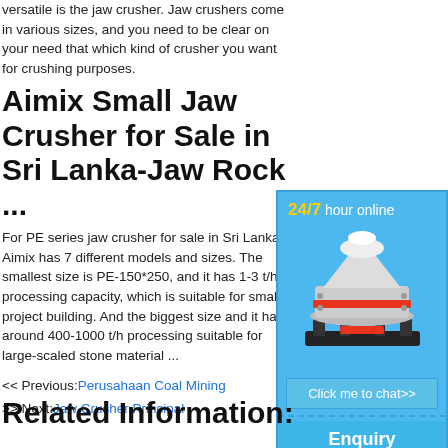versatile is the jaw crusher. Jaw crushers come in various sizes, and you need to be clear on your need that which kind of crusher you want for crushing purposes.
Aimix Small Jaw Crusher for Sale in Sri Lanka-Jaw Rock ...
For PE series jaw crusher for sale in Sri Lanka, Aimix has 7 different models and sizes. The smallest size is PE-150*250, and it has 1-3 t/h processing capacity, which is suitable for small project building. And the biggest size and it has around 400-1000 t/h processing suitable for large-scaled stone material ...
<< Previous:Perusahaan Coal Mining
>> Next:Jaw Crusher Principal
[Figure (illustration): Sidebar widget with '24/7 hour online' header in blue background, an image of a cone crusher machine, a 'Click me to chat>>' button, an 'Enquiry' section, and 'limingjlmofen' text at the bottom.]
Related Information: